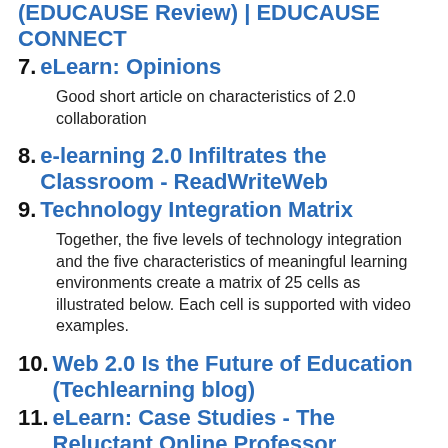(EDUCAUSE Review) | EDUCAUSE CONNECT
7. eLearn: Opinions
Good short article on characteristics of 2.0 collaboration
8. e-learning 2.0 Infiltrates the Classroom - ReadWriteWeb
9. Technology Integration Matrix
Together, the five levels of technology integration and the five characteristics of meaningful learning environments create a matrix of 25 cells as illustrated below. Each cell is supported with video examples.
10. Web 2.0 Is the Future of Education (Techlearning blog)
11. eLearn: Case Studies - The Reluctant Online Professor
12. Some Tips for Making the Most of...